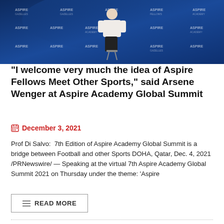[Figure (photo): A man in a white shirt and dark trousers sitting on a stool on a stage in front of a branded blue Aspire Academy backdrop.]
“I welcome very much the idea of Aspire Fellows Meet Other Sports,” said Arsene Wenger at Aspire Academy Global Summit
December 3, 2021
Prof Di Salvo:  7th Edition of Aspire Academy Global Summit is a bridge between Football and other Sports DOHA, Qatar, Dec. 4, 2021 /PRNewswire/ — Speaking at the virtual 7th Aspire Academy Global Summit 2021 on Thursday under the theme: ‘Aspire
READ MORE